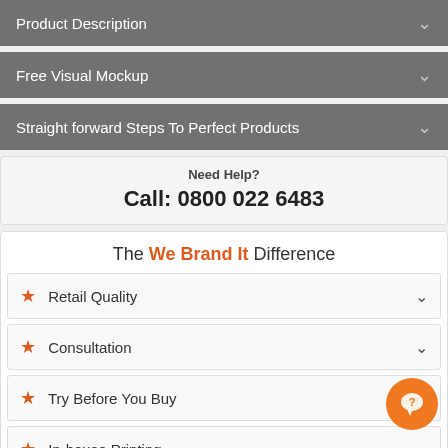Product Description
Free Visual Mockup
Straight forward Steps To Perfect Products
Need Help?
Call: 0800 022 6483
The We Brand It Difference
Retail Quality
Consultation
Try Before You Buy
In-house Printing